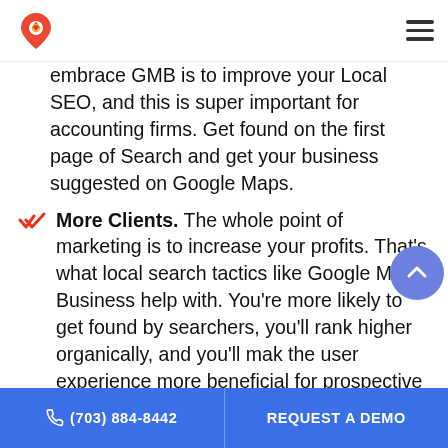Logo and navigation header
embrace GMB is to improve your Local SEO, and this is super important for accounting firms. Get found on the first page of Search and get your business suggested on Google Maps.
More Clients. The whole point of marketing is to increase your profits. That's what local search tactics like Google My Business help with. You're more likely to get found by searchers, you'll rank higher organically, and you'll make the user experience more beneficial for prospective customers. All of these things combined will help you attract more clients which means increased revenue and the ability to scale your firm.
(703) 884-8442 | REQUEST A DEMO